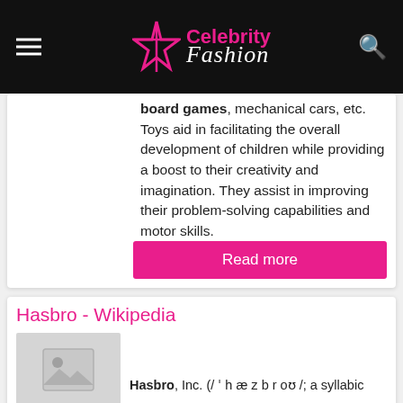Celebrity Fashion
board games, mechanical cars, etc. Toys aid in facilitating the overall development of children while providing a boost to their creativity and imagination. They assist in improving their problem-solving capabilities and motor skills.
Read more
Hasbro - Wikipedia
[Figure (photo): Placeholder image thumbnail for Hasbro Wikipedia article]
Hasbro, Inc. (/ ˈ h æ z b r oʊ /; a syllabic